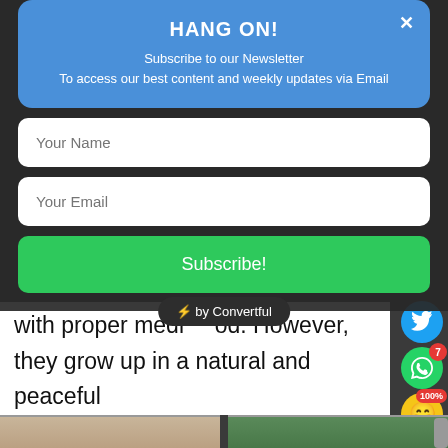HANG ON!
Subscribe to our Newsletter
To access our best content and weekly updates via Email
Your Name
Your Email
Subscribe!
with proper medi... od. However, they grow up in a natural and peaceful atmosphere and maintained nicely by a dedicated team of devotees.
[Figure (screenshot): by Convertful badge overlay]
[Figure (photo): Bottom images showing people/nature]